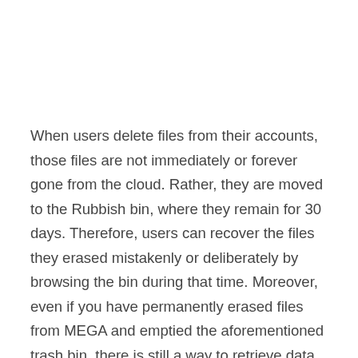When users delete files from their accounts, those files are not immediately or forever gone from the cloud. Rather, they are moved to the Rubbish bin, where they remain for 30 days. Therefore, users can recover the files they erased mistakenly or deliberately by browsing the bin during that time. Moreover, even if you have permanently erased files from MEGA and emptied the aforementioned trash bin, there is still a way to retrieve data.